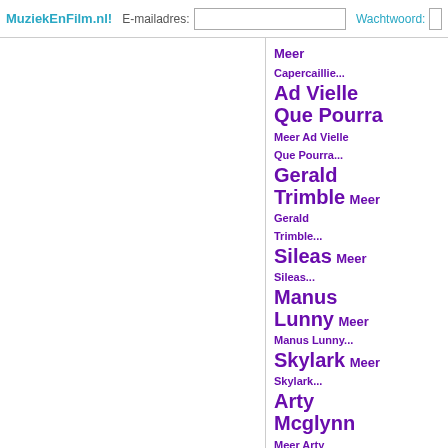MuziekEnFilm.nl! E-mailadres: Wachtwoord:
Meer
Capercaillie...
Ad Vielle Que Pourra
Meer Ad Vielle Que Pourra...
Gerald Trimble Meer Gerald Trimble...
Sileas Meer Sileas...
Manus Lunny Meer Manus Lunny...
Skylark Meer Skylark...
Arty Mcglynn
Meer Arty Mcglynn...
Declan Masterson
Meer Declan Masterson...
Matt Malloy
Meer Matt Malloy...